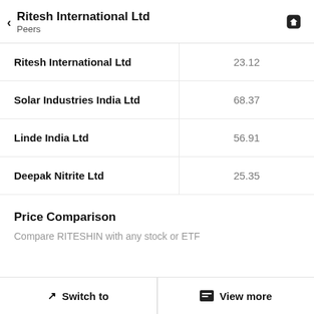Ritesh International Ltd
Peers
|  |  |
| --- | --- |
| Ritesh International Ltd | 23.12 |
| Solar Industries India Ltd | 68.37 |
| Linde India Ltd | 56.91 |
| Deepak Nitrite Ltd | 25.35 |
Price Comparison
Compare RITESHIN with any stock or ETF
Switch to   View more